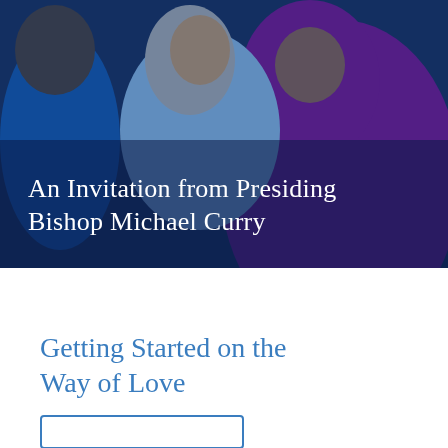[Figure (photo): A photo of Presiding Bishop Michael Curry in purple vestments embracing someone in a light blue garment, with a dark blue background. White text overlay reads 'An Invitation from Presiding Bishop Michael Curry'.]
An Invitation from Presiding Bishop Michael Curry
Getting Started on the Way of Love